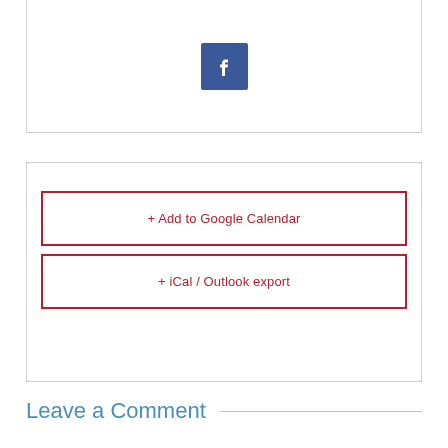[Figure (logo): Facebook icon button — blue square with white 'f' letterform]
+ Add to Google Calendar
+ iCal / Outlook export
Leave a Comment